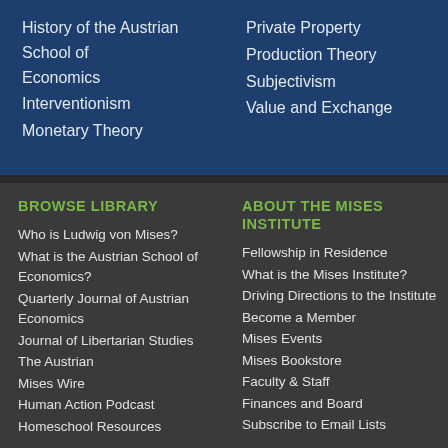History of the Austrian School of Economics
Interventionism
Monetary Theory
Private Property
Production Theory
Subjectivism
Value and Exchange
BROWSE LIBRARY
Who is Ludwig von Mises?
What is the Austrian School of Economics?
Quarterly Journal of Austrian Economics
Journal of Libertarian Studies
The Austrian
Mises Wire
Human Action Podcast
Homeschool Resources
ABOUT THE MISES INSTITUTE
Fellowship in Residence
What is the Mises Institute?
Driving Directions to the Institute
Become a Member
Mises Events
Mises Bookstore
Faculty & Staff
Finances and Board
Subscribe to Email Lists
Support Mises…